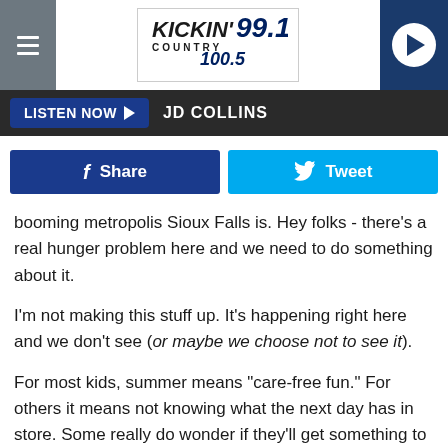[Figure (logo): Kickin Country 99.1 / 100.5 radio station website header with hamburger menu, logo, and play button]
LISTEN NOW  JD COLLINS
[Figure (other): Facebook Share button and Twitter Tweet button]
booming metropolis Sioux Falls is. Hey folks - there's a real hunger problem here and we need to do something about it.
I'm not making this stuff up. It's happening right here and we don't see (or maybe we choose not to see it).
For most kids, summer means "care-free fun." For others it means not knowing what the next day has in store. Some really do wonder if they'll get something to eat the next day.
Yes, I know the school district offers free lunch at a few of the elementary schools, but the kids have to be able to get